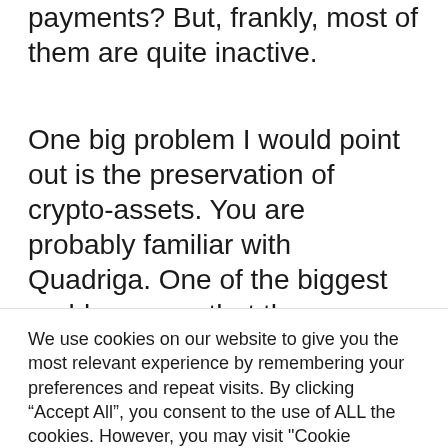payments? But, frankly, most of them are quite inactive.
One big problem I would point out is the preservation of crypto-assets. You are probably familiar with Quadriga. One of the biggest problems was that there was no safekeeping of assets – no one was convinced that if something happened to management or Quadriga computer
We use cookies on our website to give you the most relevant experience by remembering your preferences and repeat visits. By clicking “Accept All”, you consent to the use of ALL the cookies. However, you may visit "Cookie Settings" to provide a controlled consent.